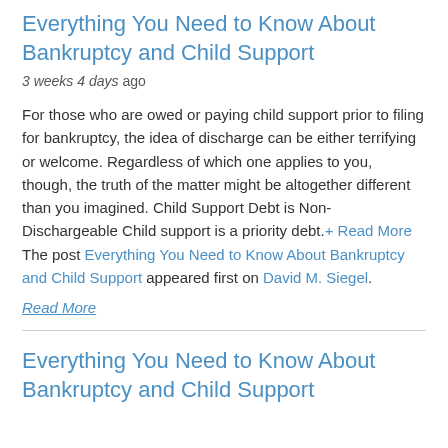Everything You Need to Know About Bankruptcy and Child Support
3 weeks 4 days ago
For those who are owed or paying child support prior to filing for bankruptcy, the idea of discharge can be either terrifying or welcome. Regardless of which one applies to you, though, the truth of the matter might be altogether different than you imagined. Child Support Debt is Non-Dischargeable Child support is a priority debt.+ Read More
The post Everything You Need to Know About Bankruptcy and Child Support appeared first on David M. Siegel.
Read More
Everything You Need to Know About Bankruptcy and Child Support